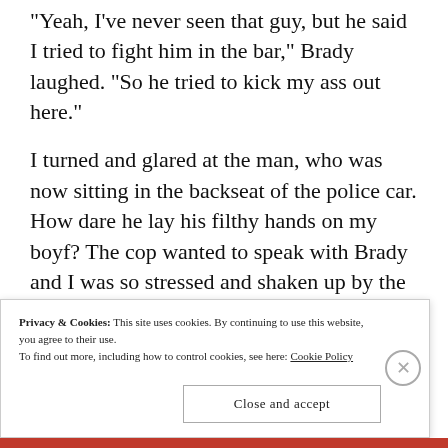Yeah, I've never seen that guy, but he said I tried to fight him in the bar," Brady laughed. "So he tried to kick my ass out here."
I turned and glared at the man, who was now sitting in the backseat of the police car. How dare he lay his filthy hands on my boyf? The cop wanted to speak with Brady and I was so stressed and shaken up by the drama that I
Privacy & Cookies: This site uses cookies. By continuing to use this website, you agree to their use.
To find out more, including how to control cookies, see here: Cookie Policy
Close and accept